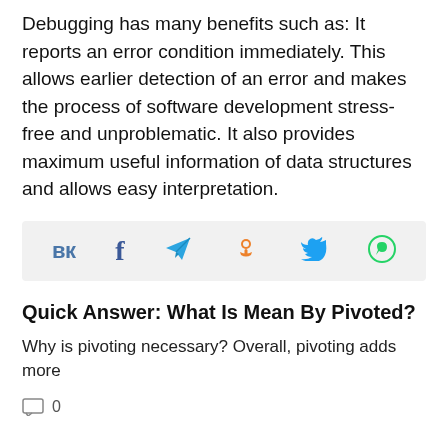Debugging has many benefits such as: It reports an error condition immediately. This allows earlier detection of an error and makes the process of software development stress-free and unproblematic. It also provides maximum useful information of data structures and allows easy interpretation.
[Figure (infographic): Social share bar with icons for VK, Facebook, Telegram, Odnoklassniki, Twitter, and WhatsApp]
Quick Answer: What Is Mean By Pivoted?
Why is pivoting necessary? Overall, pivoting adds more
0